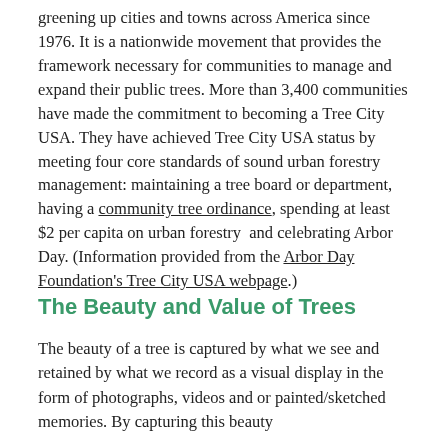greening up cities and towns across America since 1976. It is a nationwide movement that provides the framework necessary for communities to manage and expand their public trees. More than 3,400 communities have made the commitment to becoming a Tree City USA. They have achieved Tree City USA status by meeting four core standards of sound urban forestry management: maintaining a tree board or department, having a community tree ordinance, spending at least $2 per capita on urban forestry  and celebrating Arbor Day. (Information provided from the Arbor Day Foundation's Tree City USA webpage.)
The Beauty and Value of Trees
The beauty of a tree is captured by what we see and retained by what we record as a visual display in the form of photographs, videos and or painted/sketched memories. By capturing this beauty